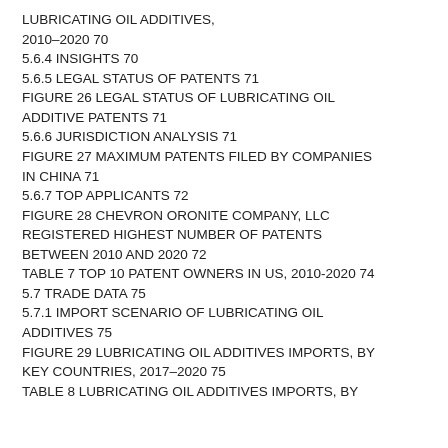LUBRICATING OIL ADDITIVES, 2010–2020 70
5.6.4 INSIGHTS 70
5.6.5 LEGAL STATUS OF PATENTS 71
FIGURE 26 LEGAL STATUS OF LUBRICATING OIL ADDITIVE PATENTS 71
5.6.6 JURISDICTION ANALYSIS 71
FIGURE 27 MAXIMUM PATENTS FILED BY COMPANIES IN CHINA 71
5.6.7 TOP APPLICANTS 72
FIGURE 28 CHEVRON ORONITE COMPANY, LLC REGISTERED HIGHEST NUMBER OF PATENTS BETWEEN 2010 AND 2020 72
TABLE 7 TOP 10 PATENT OWNERS IN US, 2010-2020 74
5.7 TRADE DATA 75
5.7.1 IMPORT SCENARIO OF LUBRICATING OIL ADDITIVES 75
FIGURE 29 LUBRICATING OIL ADDITIVES IMPORTS, BY KEY COUNTRIES, 2017–2020 75
TABLE 8 LUBRICATING OIL ADDITIVES IMPORTS, BY